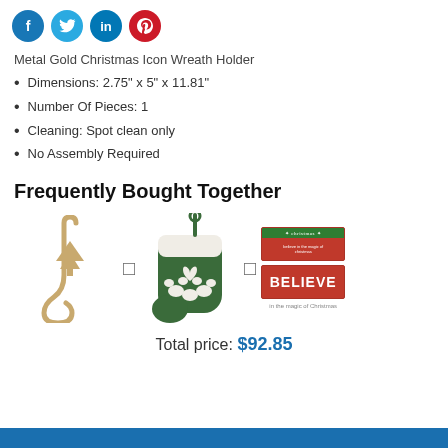[Figure (other): Social media share icons: Facebook (blue circle, f), Twitter (light blue circle, bird), LinkedIn (blue circle, in), Pinterest (red circle, p)]
Metal Gold Christmas Icon Wreath Holder
Dimensions: 2.75" x 5" x 11.81"
Number Of Pieces: 1
Cleaning: Spot clean only
No Assembly Required
Frequently Bought Together
[Figure (photo): Three product images shown side by side with plus signs between them: a gold metal Christmas wreath hook with tree detail, a green cat paw Christmas stocking with white cuff and heart, and two small rectangular Christmas signs (one red/green with text, one red with BELIEVE text)]
Total price: $92.85